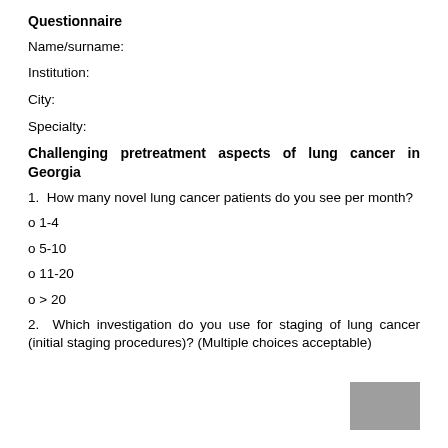Questionnaire
Name/surname:
Institution:
City:
Specialty:
Challenging pretreatment aspects of lung cancer in Georgia
1. How many novel lung cancer patients do you see per month?
o 1-4
o 5-10
o 11-20
o > 20
2. Which investigation do you use for staging of lung cancer (initial staging procedures)? (Multiple choices acceptable)